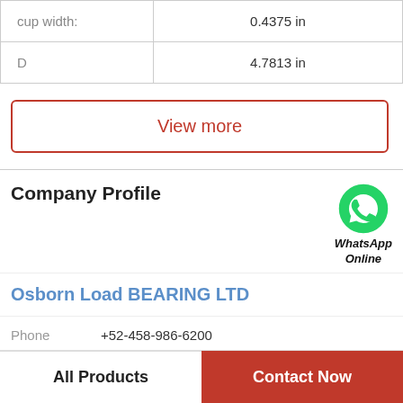| Property | Value |
| --- | --- |
| cup width: | 0.4375 in |
| D | 4.7813 in |
View more
Company Profile
[Figure (logo): WhatsApp green circle icon with phone handset, labeled WhatsApp Online]
Osborn Load BEARING LTD
Phone  +52-458-986-6200
View more
All Products
Contact Now